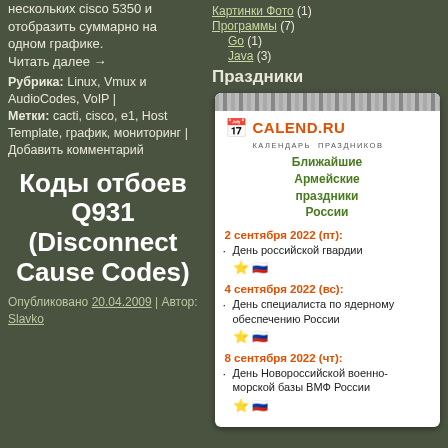нескольких cisco 5350 и отобразить суммарно на одном графике. Читать далее →
Рубрика: Linux, Vmux и AudioCodes, VoIP | Метки: cacti, cisco, e1, Host Template, график, мониторинг | Добавить комментарий
Коды отбоев Q931 (Disconnect Cause Codes)
Опубликовано 20.04.2009 | Автор: Slavko
Праздники
[Figure (infographic): CALEND.RU calendar widget showing upcoming Russian military holidays: 2 сентября 2022 (пт) - День российской гвардии; 4 сентября 2022 (вс) - День специалиста по ядерному обеспечению России; 8 сентября 2022 (чт) - День Новороссийской военно-морской базы ВМФ России]
Картинки Фото (1)
Программы (7)
Go (1)
Java (3)